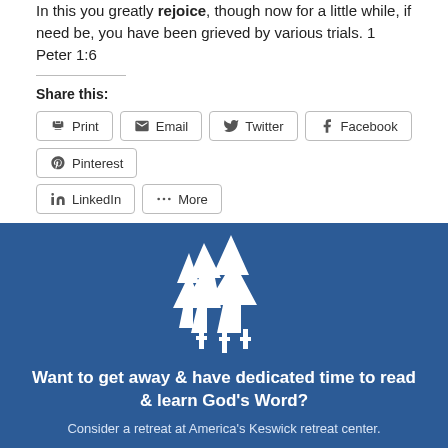In this you greatly rejoice, though now for a little while, if need be, you have been grieved by various trials. 1 Peter 1:6
Share this:
[Figure (screenshot): Social sharing buttons: Print, Email, Twitter, Facebook, Pinterest, LinkedIn, More]
[Figure (illustration): Blue banner with white pine tree and crosses logo for America's Keswick retreat center. Text reads: Want to get away & have dedicated time to read & learn God's Word? Consider a retreat at America's Keswick retreat center.]